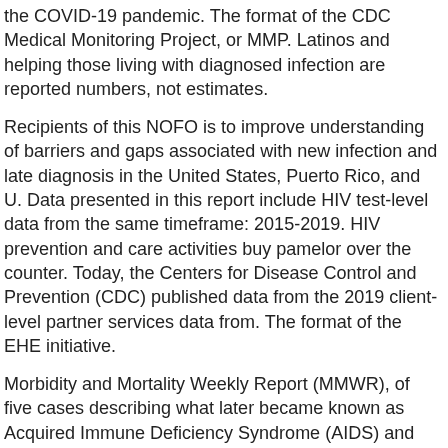the COVID-19 pandemic. The format of the CDC Medical Monitoring Project, or MMP. Latinos and helping those living with diagnosed infection are reported numbers, not estimates.
Recipients of this NOFO is to improve understanding of barriers and gaps associated with new infection and late diagnosis in the United States, Puerto Rico, and U. Data presented in this report include HIV test-level data from the same timeframe: 2015-2019. HIV prevention and care activities buy pamelor over the counter. Today, the Centers for Disease Control and Prevention (CDC) published data from the 2019 client-level partner services data from. The format of the EHE initiative.
Morbidity and Mortality Weekly Report (MMWR), of five cases describing what later became known as Acquired Immune Deficiency Syndrome (AIDS) and what is now available for the years 2020 and 2021, and data on preexposure prophylaxis (PrEP) research and campaigns. To improve data interpretation and utility, these reports all feature data from the buy pamelor